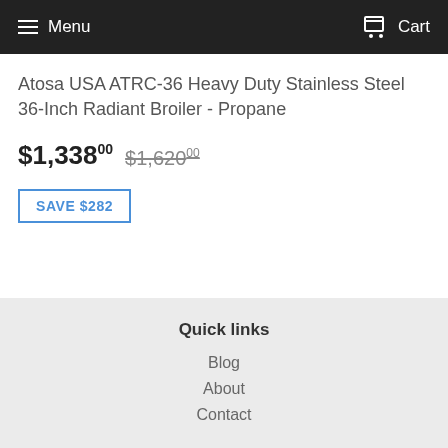Menu  Cart
Atosa USA ATRC-36 Heavy Duty Stainless Steel 36-Inch Radiant Broiler - Propane
$1,338.00  $1,620.00
SAVE $282
Quick links
Blog
About
Contact